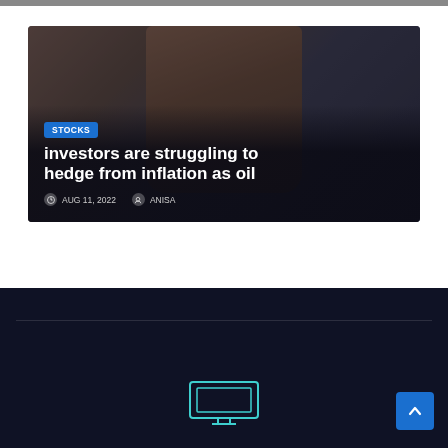[Figure (photo): Article card with briefcase photo. A person in dark clothing holding a brown leather briefcase. Overlay shows STOCKS badge, article title, date and author.]
investors are struggling to hedge from inflation as oil
AUG 11, 2022  ANISA
[Figure (logo): Footer section with dark navy background, horizontal divider line, and a stylized TV/monitor logo icon in teal/cyan outline at the bottom center. Blue scroll-to-top button at bottom right with upward arrow.]